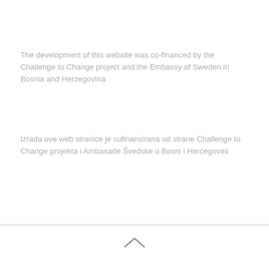The development of this website was co-financed by the Challenge to Change project and the Embassy of Sweden in Bosnia and Herzegovina
Izrada ove web stranice je sufinansirana od strane Challenge to Change projekta i Ambasade Švedske u Bosni i Hercegovini